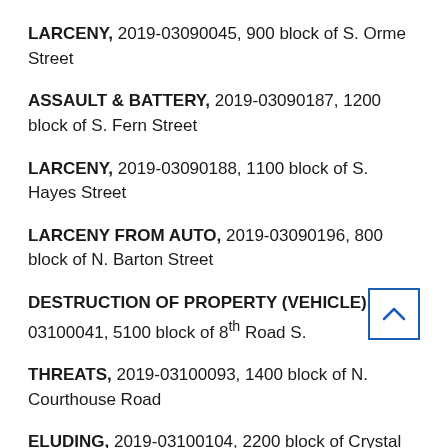LARCENY, 2019-03090045, 900 block of S. Orme Street
ASSAULT & BATTERY, 2019-03090187, 1200 block of S. Fern Street
LARCENY, 2019-03090188, 1100 block of S. Hayes Street
LARCENY FROM AUTO, 2019-03090196, 800 block of N. Barton Street
DESTRUCTION OF PROPERTY (VEHICLE), 2019-03100041, 5100 block of 8th Road S.
THREATS, 2019-03100093, 1400 block of N. Courthouse Road
ELUDING, 2019-03100104, 2200 block of Crystal Drive